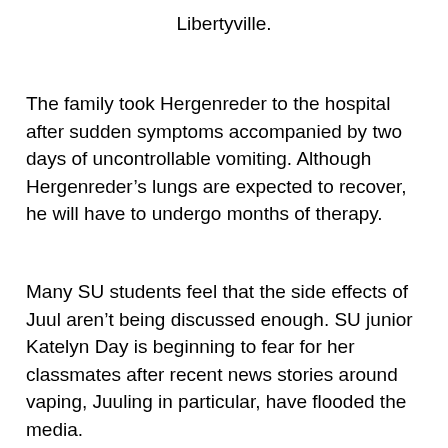Libertyville.
The family took Hergenreder to the hospital after sudden symptoms accompanied by two days of uncontrollable vomiting. Although Hergenreder’s lungs are expected to recover, he will have to undergo months of therapy.
Many SU students feel that the side effects of Juul aren’t being discussed enough. SU junior Katelyn Day is beginning to fear for her classmates after recent news stories around vaping, Juuling in particular, have flooded the media.